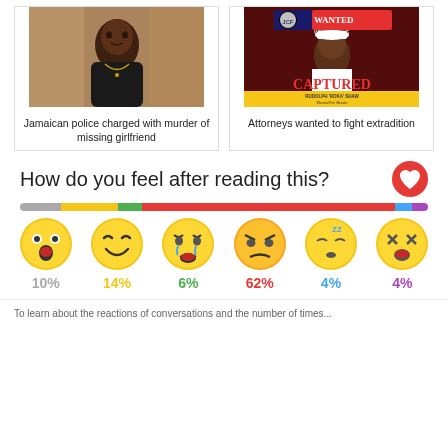[Figure (photo): Photo of a Jamaican man in a black shirt with gold necklace]
Jamaican police charged with murder of missing girlfriend
[Figure (photo): Wanted Wednesdays poster showing CAPTURED - Rudolph 'Roka' Shaw, Wanted For: Murder]
Attorneys wanted to fight extradition
How do you feel after reading this?
[Figure (bar-chart): Emotion reactions bar]
10%  14%  6%  62%  4%  4%
To learn about the conversation of reactions and the number of times...